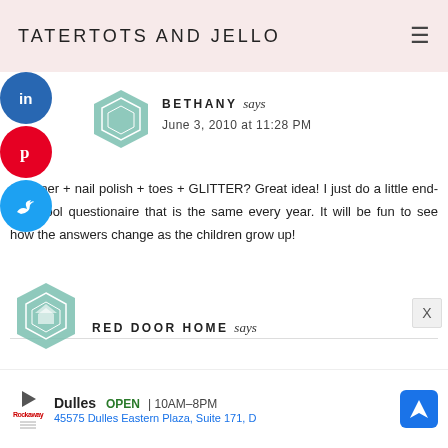TATERTOTS AND JELLO
[Figure (illustration): LinkedIn, Pinterest, and Twitter social share buttons as colored circles on the left side]
[Figure (illustration): Decorative hexagon avatar icon for user Bethany]
BETHANY says
June 3, 2010 at 11:28 PM
Summer + nail polish + toes + GLITTER? Great idea! I just do a little end-of-school questionaire that is the same every year. It will be fun to see how the answers change as the children grow up!
[Figure (illustration): Decorative hexagon avatar icon for user Red Door Home]
RED DOOR HOME says
[Figure (infographic): Advertisement banner: Dulles OPEN 10AM-8PM, 45575 Dulles Eastern Plaza, Suite 171, D with navigation icon]